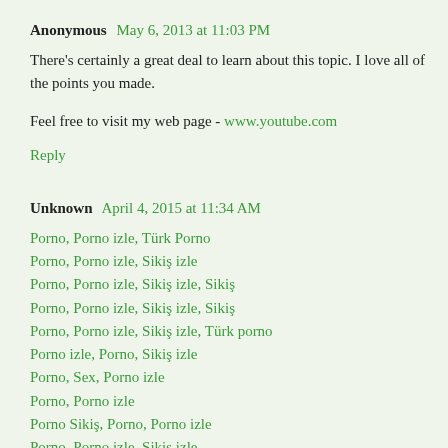Anonymous  May 6, 2013 at 11:03 PM
There's certainly a great deal to learn about this topic. I love all of the points you made.
Feel free to visit my web page - www.youtube.com
Reply
Unknown  April 4, 2015 at 11:34 AM
Porno, Porno izle, Türk Porno
Porno, Porno izle, Sikiş izle
Porno, Porno izle, Sikiş izle, Sikiş
Porno, Porno izle, Sikiş izle, Sikiş
Porno, Porno izle, Sikiş izle, Türk porno
Porno izle, Porno, Sikiş izle
Porno, Sex, Porno izle
Porno, Porno izle
Porno Sikiş, Porno, Porno izle
Porno, Porno izle, Sikiş izle